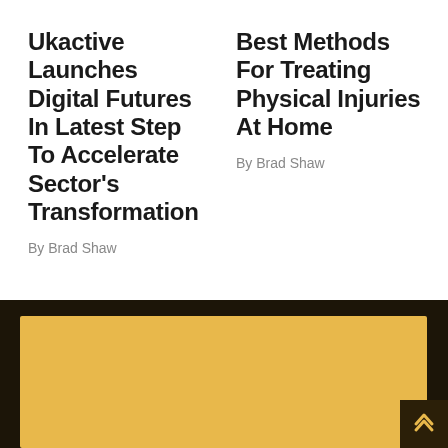Ukactive Launches Digital Futures In Latest Step To Accelerate Sector's Transformation
By Brad Shaw
Best Methods For Treating Physical Injuries At Home
By Brad Shaw
[Figure (other): Dark footer section with golden/yellow advertisement banner and a scroll-to-top button in the bottom right corner]